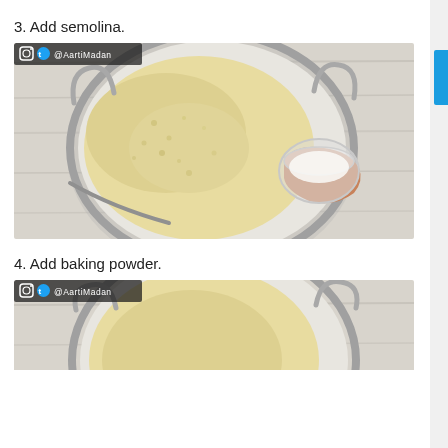3. Add semolina.
[Figure (photo): Top-down view of a stainless steel mixing bowl containing pale yellow semolina flour, with a hand holding a small glass bowl of liquid (milk) about to pour it in. Set on a white wood-grain surface. Watermark: @AartiMadan with Instagram and Twitter icons.]
4. Add baking powder.
[Figure (photo): Top-down view of a stainless steel mixing bowl containing a pale yellow mixture, partially showing a hand adding baking powder. Set on a white wood-grain surface. Watermark: @AartiMadan with Instagram and Twitter icons.]